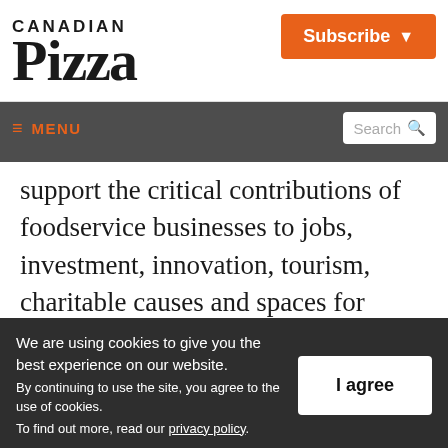Canadian Pizza | Subscribe
MENU | Search
support the critical contributions of foodservice businesses to jobs, investment, innovation, tourism, charitable causes and spaces for people to come together,” said David Lefebvre, Restaurants Canada’s vice-
We are using cookies to give you the best experience on our website. By continuing to use the site, you agree to the use of cookies. To find out more, read our privacy policy.